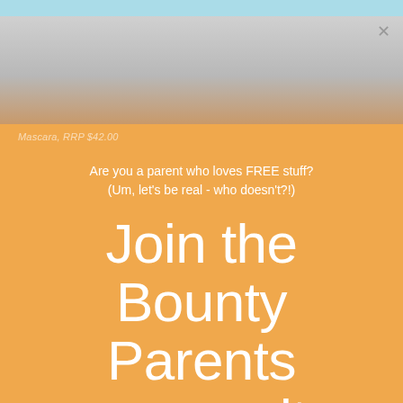[Figure (photo): Top portion of a webpage showing a photo strip with a face/person partially visible, light grey tones merging into orange background. A close (×) button is in the top right.]
Mascara, RRP $42.00
Are you a parent who loves FREE stuff? (Um, let's be real - who doesn't?!)
Join the Bounty Parents community and be rewarded!